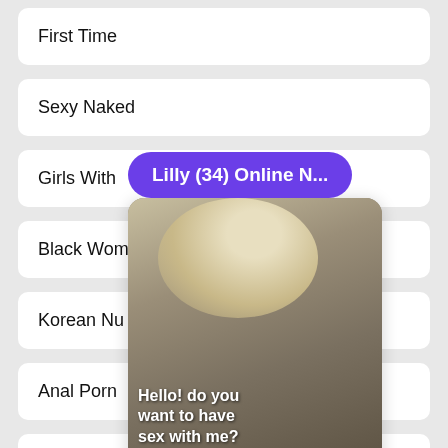First Time
Sexy Naked
Girls With
Black Wom
Korean Nu
Anal Porn
Cartoon Po
[Figure (screenshot): Dating app popup overlay showing 'Lilly (34) Online N...' in purple bubble, with a photo of a blonde woman and text 'Hello! do you want to have sex with me?' and X/heart buttons at bottom]